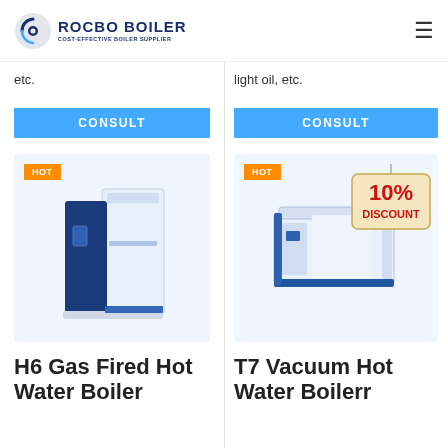[Figure (logo): Rocbo Boiler logo with circular blue icon and text 'ROCBO BOILER / COST-EFFECTIVE BOILER SUPPLIER']
etc.
light oil, etc.
CONSULT
CONSULT
[Figure (photo): HOT badge and photo of H6 Gas Fired Hot Water Boiler — tall blue and white unit]
[Figure (photo): HOT badge with 10% DISCOUNT sign and photo of T7 Vacuum Hot Water Boiler — wide white unit]
H6 Gas Fired Hot Water Boiler
T7 Vacuum Hot Water Boilerr